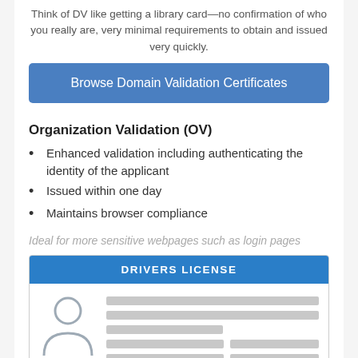Think of DV like getting a library card—no confirmation of who you really are, very minimal requirements to obtain and issued very quickly.
Browse Domain Validation Certificates
Organization Validation (OV)
Enhanced validation including authenticating the identity of the applicant
Issued within one day
Maintains browser compliance
Ideal for more sensitive webpages such as login pages
[Figure (illustration): A drivers license card mockup with a blue header reading 'DRIVERS LICENSE', a person avatar icon on the left, and gray placeholder lines for text fields on the right.]